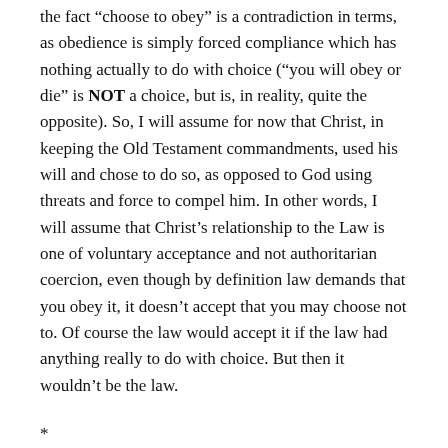the fact “choose to obey” is a contradiction in terms, as obedience is simply forced compliance which has nothing actually to do with choice (“you will obey or die” is NOT a choice, but is, in reality, quite the opposite). So, I will assume for now that Christ, in keeping the Old Testament commandments, used his will and chose to do so, as opposed to God using threats and force to compel him. In other words, I will assume that Christ’s relationship to the Law is one of voluntary acceptance and not authoritarian coercion, even though by definition law demands that you obey it, it doesn’t accept that you may choose not to. Of course the law would accept it if the law had anything really to do with choice. But then it wouldn’t be the law.
*
In looking at the claim that Christ fulfills the Law for us, we naturally ask how? To which the orthodox reply is that he ACTED in a way which satisfied the commandments...